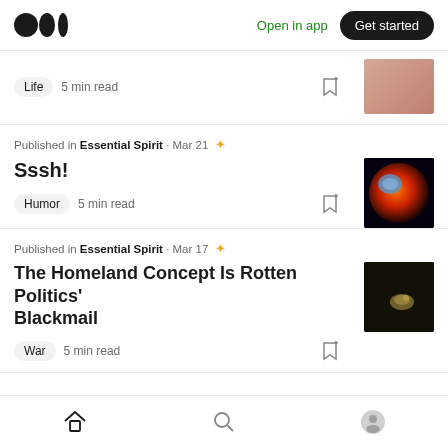Medium logo | Open in app | Get started
Life · 5 min read
Published in Essential Spirit · Mar 21
Sssh!
Humor · 5 min read
Published in Essential Spirit · Mar 17
The Homeland Concept Is Rotten Politics' Blackmail
War · 5 min read
Home | Search | Profile